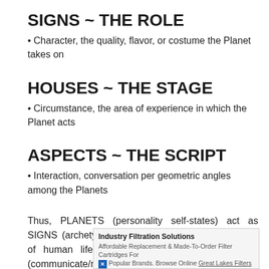SIGNS ~ THE ROLE
• Character, the quality, flavor, or costume the Planet takes on
HOUSES ~ THE STAGE
• Circumstance, the area of experience in which the Planet acts
ASPECTS ~ THE SCRIPT
• Interaction, conversation per geometric angles among the Planets
Thus, PLANETS (personality self-states) act as SIGNS (archetypal mannerisms) in HOUSES (areas of human life experience) and make ASPECTS (communicate/relate) to each o...